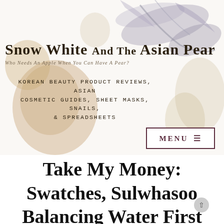[Figure (illustration): Watercolor-style illustration of dried pears/flowers in muted beige, tan, and purple-grey tones serving as background header decoration]
Snow White and the Asian Pear
Who Needs an Apple when you can have a Pear?
Korean beauty product reviews, Asian cosmetic guides, sheet masks, snails, & spreadsheets
MENU ≡
Take My Money: Swatches, Sulwhasoo Balancing Water First